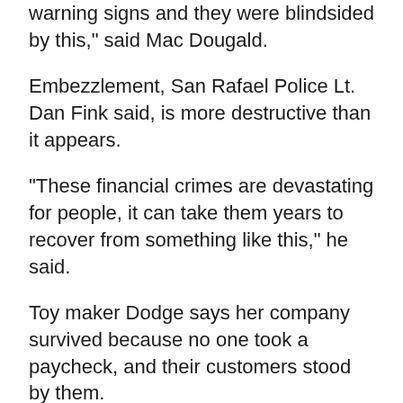warning signs and they were blindsided by this," said Mac Dougald.
Embezzlement, San Rafael Police Lt. Dan Fink said, is more destructive than it appears.
"These financial crimes are devastating for people, it can take them years to recover from something like this," he said.
Toy maker Dodge says her company survived because no one took a paycheck, and their customers stood by them.
"I am proud that we didn't let her take our mission," said Dodge, who now works from home, unable to afford office space. "Kimochis still teach the things we had to live through ourselves, how to be resilient in